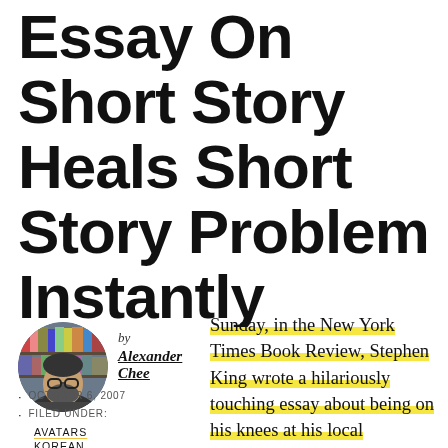Essay On Short Story Heals Short Story Problem Instantly
[Figure (photo): Circular avatar photo of Alexander Chee, a man with glasses and a beard, seated in front of bookshelves]
by Alexander Chee
OCTOBER 6, 2007
FILED UNDER: AVATARS KOREAN
Sunday, in the New York Times Book Review, Stephen King wrote a hilariously touching essay about being on his knees at his local bookstore in order to find short fiction in literary journals, hidden under